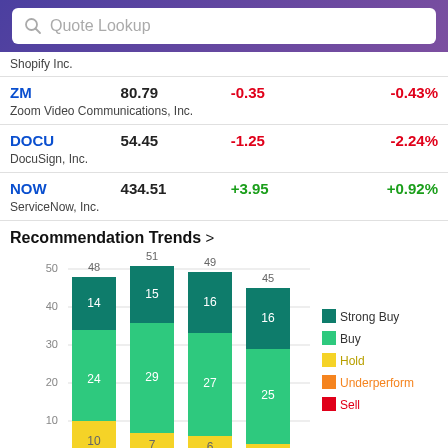Quote Lookup
| Ticker | Price | Change | Change% |
| --- | --- | --- | --- |
| Shopify Inc. |  |  |  |
| ZM | 80.79 | -0.35 | -0.43% |
| Zoom Video Communications, Inc. |  |  |  |
| DOCU | 54.45 | -1.25 | -2.24% |
| DocuSign, Inc. |  |  |  |
| NOW | 434.51 | +3.95 | +0.92% |
| ServiceNow, Inc. |  |  |  |
Recommendation Trends >
[Figure (stacked-bar-chart): Recommendation Trends]